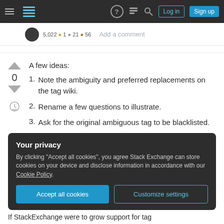Stack Exchange navigation bar with hamburger menu, logo, help, chat, search, Log in, Sign up buttons
Add a comment
A few ideas:
1. Note the ambiguity and preferred replacements on the tag wiki.
2. Rename a few questions to illustrate.
3. Ask for the original ambiguous tag to be blacklisted.
Your privacy
By clicking "Accept all cookies", you agree Stack Exchange can store cookies on your device and disclose information in accordance with our Cookie Policy.
Accept all cookies  Customize settings
If StackExchange were to grow support for tag